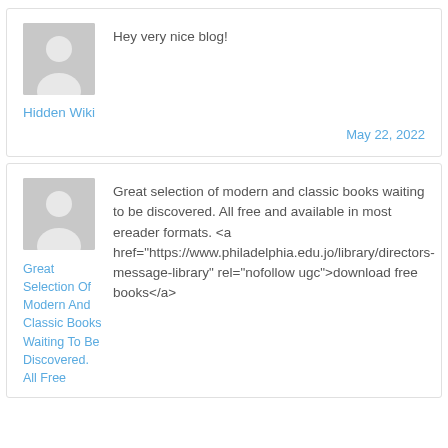Hey very nice blog!
Hidden Wiki
May 22, 2022
Great selection of modern and classic books waiting to be discovered. All free and available in most ereader formats. <a href="https://www.philadelphia.edu.jo/library/directors-message-library" rel="nofollow ugc">download free books</a>
Great Selection Of Modern And Classic Books Waiting To Be Discovered. All Free